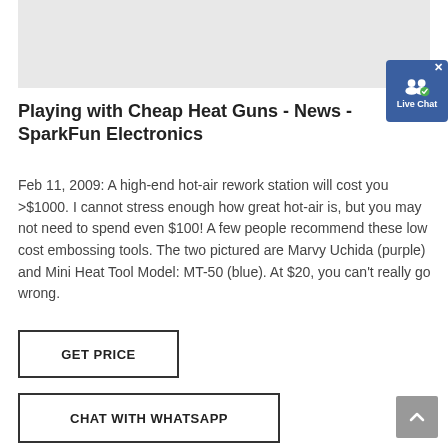[Figure (photo): Partial view of a product image on a light gray background, cropped at top]
[Figure (screenshot): Live Chat badge/widget button in blue with a chat icon and 'Live Chat' text, with an X close button]
Playing with Cheap Heat Guns - News - SparkFun Electronics
Feb 11, 2009: A high-end hot-air rework station will cost you >$1000. I cannot stress enough how great hot-air is, but you may not need to spend even $100! A few people recommend these low cost embossing tools. The two pictured are Marvy Uchida (purple) and Mini Heat Tool Model: MT-50 (blue). At $20, you can't really go wrong.
GET PRICE
CHAT WITH WHATSAPP